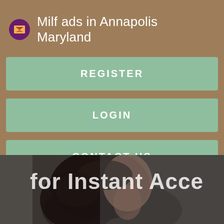Milf ads in Annapolis Maryland
REGISTER
LOGIN
CONTACT US
[Figure (photo): Photo of a person with dark hair, partially visible face looking down, with overlay text reading 'for Instant Acce' (truncated)]